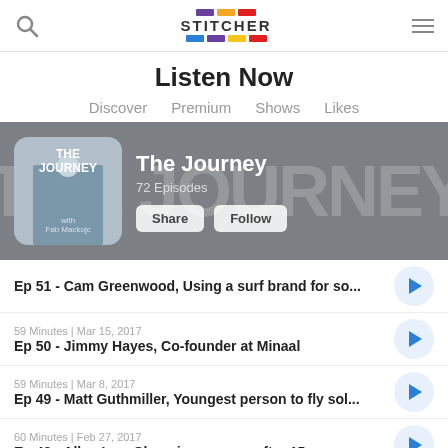Stitcher - Listen Now
Listen Now
Discover  Premium  Shows  Likes
[Figure (screenshot): The Journey podcast banner with thumbnail showing 'THE JOURNEY with Fab Mackojc', 72 Episodes, Share and Follow buttons, and background watermark text 'THE JOURNEY']
Ep 51 - Cam Greenwood, Using a surf brand for so...
59 Minutes | Mar 15, 2017
Ep 50 - Jimmy Hayes, Co-founder at Minaal
59 Minutes | Mar 8, 2017
Ep 49 - Matt Guthmiller, Youngest person to fly sol...
60 Minutes | Feb 27, 2017
Ep 48 - Allen Lee, Changing careers after 15 years ...